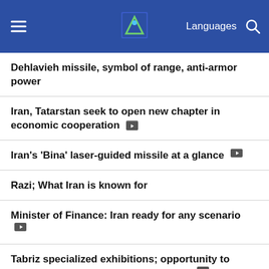Languages
Dehlavieh missile, symbol of range, anti-armor power
Iran, Tatarstan seek to open new chapter in economic cooperation [video]
Iran's 'Bina' laser-guided missile at a glance [video]
Razi; What Iran is known for
Minister of Finance: Iran ready for any scenario [video]
Tabriz specialized exhibitions; opportunity to showcase Iran's industrial capacities [video]
Stair paddies in Iran's Vatan village with heavenly nature [video]
No ratification On JCPOA by Iran parliament yet: Guardian Council spox [video]
Advancement of women's leadership capabilities on the agenda: